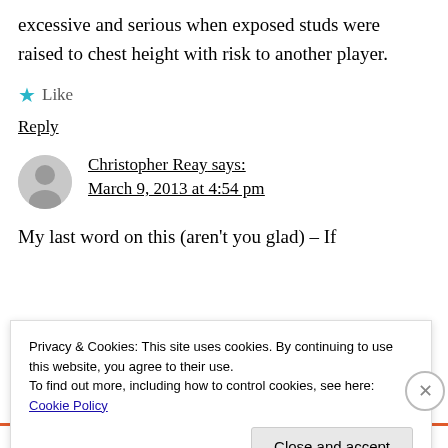excessive and serious when exposed studs were raised to chest height with risk to another player.
Like
Reply
Christopher Reay says:
March 9, 2013 at 4:54 pm
My last word on this (aren't you glad) – If
Privacy & Cookies: This site uses cookies. By continuing to use this website, you agree to their use.
To find out more, including how to control cookies, see here: Cookie Policy
Close and accept